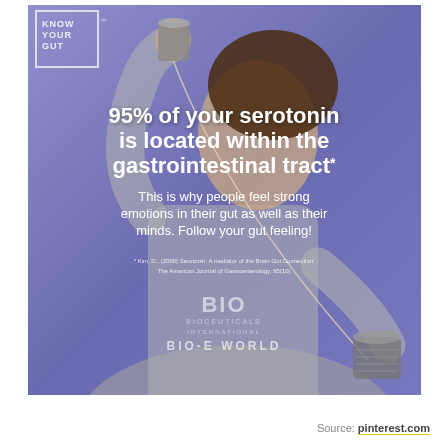[Figure (infographic): Infographic showing a woman holding a tin can telephone against a blue-purple background. Contains the 'Know Your Gut' logo in top left corner. Main bold white text reads '95% of your serotonin is located within the gastrointestinal tract*' with subtitle 'This is why people feel strong emotions in their gut as well as their minds. Follow your gut feeling!' A footnote citation references Kim, D., (2000) Serotonin: A mediator of the Brain-Gut Connection, The American Journal of Gastroenterology, 95(10). Bio-E World logo appears at bottom.]
Source: pinterest.com